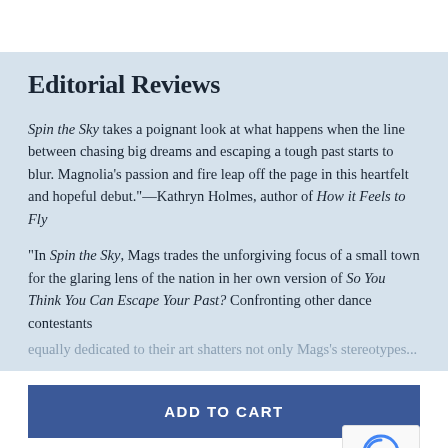Editorial Reviews
Spin the Sky takes a poignant look at what happens when the line between chasing big dreams and escaping a tough past starts to blur. Magnolia’s passion and fire leap off the page in this heartfelt and hopeful debut.”—Kathryn Holmes, author of How it Feels to Fly
“In Spin the Sky, Mags trades the unforgiving focus of a small town for the glaring lens of the nation in her own version of So You Think You Can Escape Your Past? Confronting other dance contestants equally dedicated to their art shatters not only Mags’s stereotypes...
ADD TO CART
$2.99